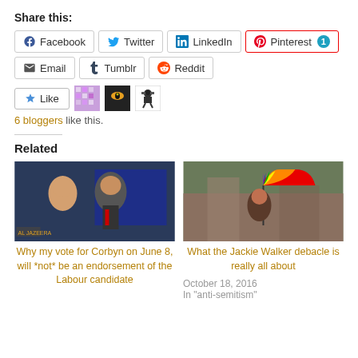Share this:
Facebook | Twitter | LinkedIn | Pinterest 1
Email | Tumblr | Reddit
6 bloggers like this.
Related
[Figure (photo): Two men smiling at an event, with a banner in background]
Why my vote for Corbyn on June 8, will *not* be an endorsement of the Labour candidate
[Figure (photo): Woman holding a rainbow umbrella outdoors]
What the Jackie Walker debacle is really all about
October 18, 2016
In "anti-semitism"